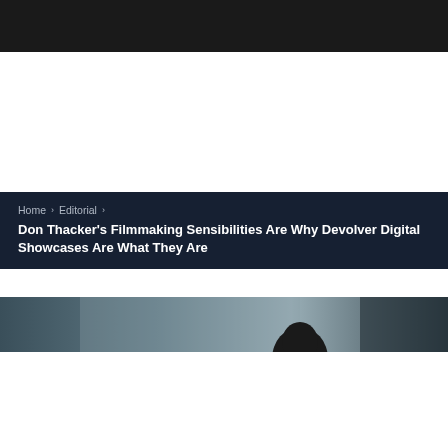Home › Editorial › Don Thacker's Filmmaking Sensibilities Are Why Devolver Digital Showcases Are What They Are
[Figure (photo): Partial view of a person's head/hair in a dark cinematic setting]
×